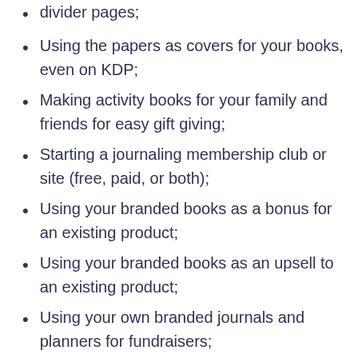divider pages;
Using the papers as covers for your books, even on KDP;
Making activity books for your family and friends for easy gift giving;
Starting a journaling membership club or site (free, paid, or both);
Using your branded books as a bonus for an existing product;
Using your branded books as an upsell to an existing product;
Using your own branded journals and planners for fundraisers;
Using these designs along with other designs you own to create totally new activity books, journa…